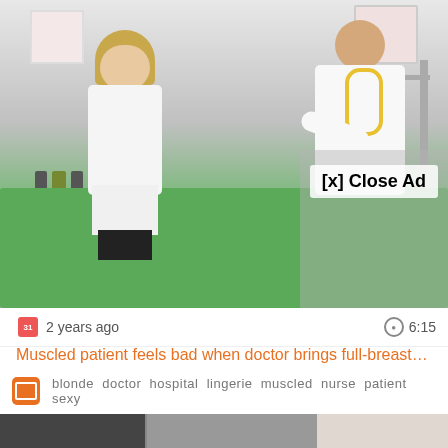[Figure (screenshot): Video thumbnail showing a hospital room scene with a nurse in white uniform, a doctor in white coat with yellow stethoscope, and a patient lying in a hospital bed with green sheets. An '[x] Close Ad' overlay button is visible on the right side. Medical posters are on the wall and an IV stand is visible.]
2 years ago
6:15
Muscled patient feels bad when doctor brings full-breasted blonde nurs...
blonde  doctor  hospital  lingerie  muscled  nurse  patient  sexy
[Figure (screenshot): Bottom strip showing a partial preview of another video thumbnail with dark left panel, grey middle section, and light right section.]